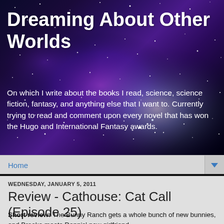[Figure (photo): Space/galaxy background image with stars, nebula in purple and blue tones]
Dreaming About Other Worlds
On which I write about the books I read, science, science fiction, fantasy, and anything else that I want to. Currently trying to read and comment upon every novel that has won the Hugo and International Fantasy awards.
Home
WEDNESDAY, JANUARY 5, 2011
Review - Cathouse: Cat Call (Episode 25)
Short review: The Bunny Ranch gets a whole bunch of new bunnies, and Brooke meets Dennis' new girlfriend.